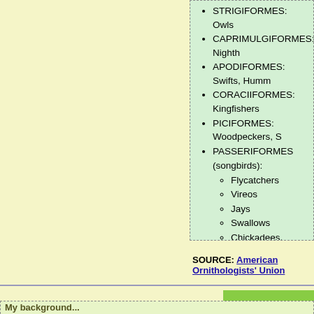STRIGIFORMES: Owls
CAPRIMULGIFORMES: Nighth...
APODIFORMES: Swifts, Humm...
CORACIIFORMES: Kingfishers...
PICIFORMES: Woodpeckers, S...
PASSERIFORMES (songbirds):
Flycatchers
Vireos
Jays
Swallows
Chickadees, Titmice
Creepers, Nuthatches
Wrens
Kinglets
Gnatcatchers
Thrushes
Thrashers, etc.
Starlings
Warblers
Tanagers
Sparrows, Buntings, juncos
Blackbirds, Grackles, Orioles
Finches, Grosbeaks
SOURCE: American Ornithologists' Union